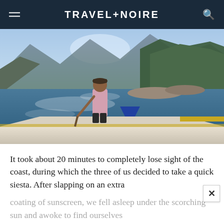TRAVEL+NOIRE
[Figure (photo): A man standing on a boat on a river, wearing a pink tank top and holding an oar. Lush green jungle hills and mountains in the background under a bright sky. The photo is taken from aboard the boat looking forward.]
It took about 20 minutes to completely lose sight of the coast, during which the three of us decided to take a quick siesta. After slapping on an extra coating of sunscreen, we fell asleep under the scorching sun and awoke to find ourselves